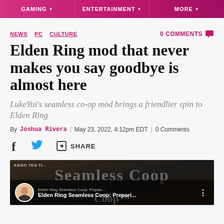GAMING  ENTERTAINMENT  MORE
NEWS  PC  CULTURE  0 COMMENTS
Elden Ring mod that never makes you say goodbye is almost here
LukeYui's seamless co-op mod brings a friendlier spin to Elden Ring
By Joshua Rivera | May 23, 2022, 4:12pm EDT | 0 Comments
[Figure (screenshot): YouTube video thumbnail for 'Elden Ring Seamless Coop: Prepari...' with channel avatar and Seamless Coop title watermark overlay on dark rocky background]